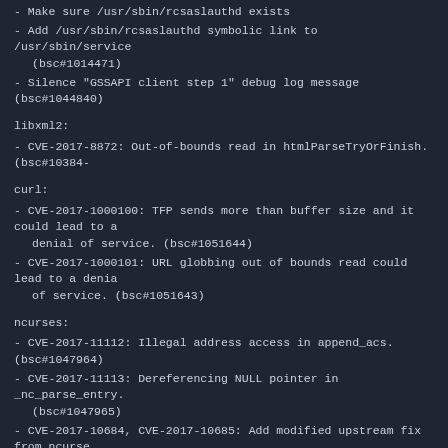- Make sure /usr/sbin/rcsaslauthd exists
- Add /usr/sbin/rcsaslauthd symbolic link to /usr/sbin/service (bsc#1014471)
- Silence "GSSAPI client step 1" debug log message (bsc#1044840)
libxml2:
- CVE-2017-8872: Out-of-bounds read in htmlParseTryOrFinish. (bsc#10384-
curl:
- CVE-2017-1000100: TFP sends more than buffer size and it could lead to a denial of service. (bsc#1051644)
- CVE-2017-1000101: URL globbing out of bounds read could lead to a denial of service. (bsc#1051643)
ncurses:
- CVE-2017-11112: Illegal address access in append_acs. (bsc#1047964)
- CVE-2017-11113: Dereferencing NULL pointer in _nc_parse_entry. (bsc#1047965)
- CVE-2017-10684, CVE-2017-10685: Add modified upstream fix from ncurses 6.0 to avoid broken termcap format (bsc#1046853, bsc#1046858, bsc#1049344)
sed:
- Don't terminate with a segmentation fault if close of last file descriptor fails. (bsc#954661)
openssl: